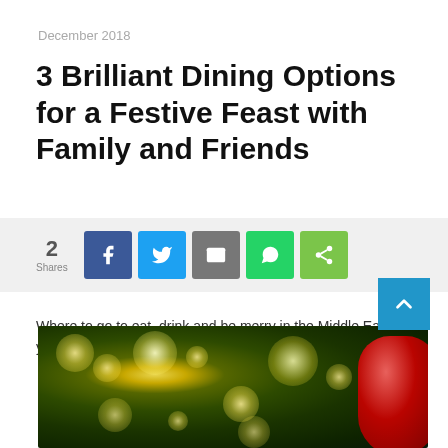December 2018
3 Brilliant Dining Options for a Festive Feast with Family and Friends
[Figure (infographic): Social share bar with count of 2 shares and buttons for Facebook, Twitter, Email, WhatsApp, and generic share]
Where to go to eat, drink and be merry in the Middle East this year.
[Figure (photo): Bokeh photo of Christmas lights with a red ornament ball visible on the right side, green bokeh background suggesting a Christmas tree]